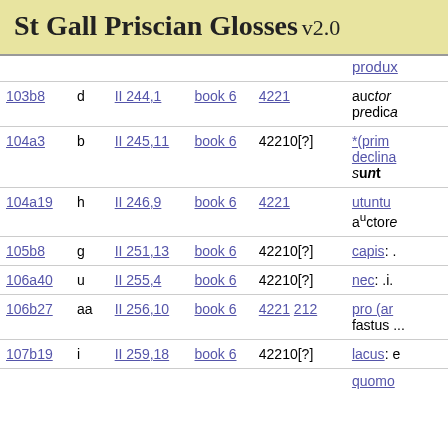St Gall Priscian Glosses v2.0
| ref | marker | location | book | number | gloss |
| --- | --- | --- | --- | --- | --- |
| (produx...) |  |  |  |  | produx... |
| 103b8 | d | II 244,1 | book 6 | 4221 | auctor... predica... |
| *(prim... |  |  |  |  | *(prim... declina... sunt |
| 104a3 | b | II 245,11 | book 6 | 42210[?] | *(prim... declina... sunt |
| 104a19 | h | II 246,9 | book 6 | 4221 | utuntu... a^u ctore... |
| 105b8 | g | II 251,13 | book 6 | 42210[?] | capis: ... |
| 106a40 | u | II 255,4 | book 6 | 42210[?] | nec: .i.... |
| 106b27 | aa | II 256,10 | book 6 | 4221 212 | pro (ar... fastus ... |
| 107b19 | i | II 259,18 | book 6 | 42210[?] | lacus: e... |
| (quomo...) |  |  |  |  | quomo... |